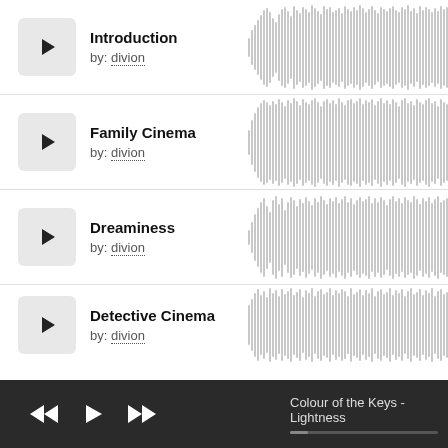Introduction by: divion
[Figure (other): Audio waveform for Introduction track]
Family Cinema by: divion
[Figure (other): Audio waveform for Family Cinema track]
Dreaminess by: divion
[Figure (other): Audio waveform for Dreaminess track]
Detective Cinema by: divion
[Figure (other): Audio waveform for Detective Cinema track]
Colour of the Keys - Lightness